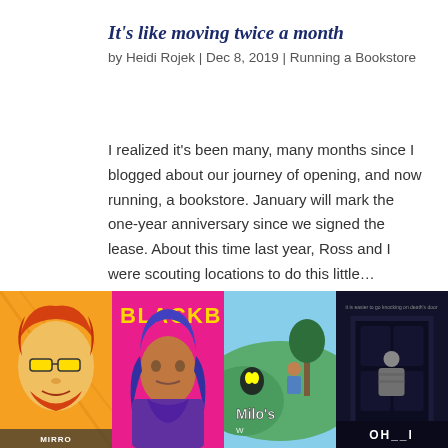It's like moving twice a month
by Heidi Rojek | Dec 8, 2019 | Running a Bookstore
I realized it's been many, many months since I blogged about our journey of opening, and now running, a bookstore. January will mark the one-year anniversary since we signed the lease. About this time last year, Ross and I were scouting locations to do this little…
read more
[Figure (photo): Four book covers displayed side by side at the bottom of the page: a comic-style illustration (Mirro), a pink cover with a woman (Blackbird), a green landscape cover (Milo's), and a dark thriller cover]